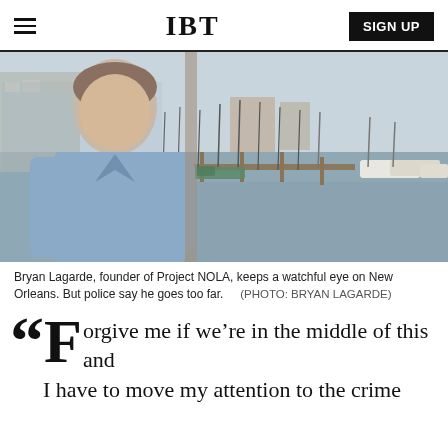IBT | SIGN UP
[Figure (photo): Bryan Lagarde, a man in a blue linen shirt, stands at a marina with sailboats and calm water visible in the background. Buildings are visible on the left.]
Bryan Lagarde, founder of Project NOLA, keeps a watchful eye on New Orleans. But police say he goes too far.   (PHOTO: BRYAN LAGARDE)
“Forgive me if we’re in the middle of this and I have to move my attention to the crime